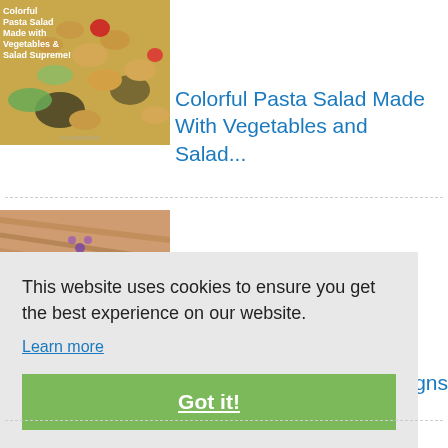[Figure (photo): Colorful pasta salad with vegetables, rotini pasta, cucumbers, tomatoes, olives]
Colorful Pasta Salad Made With Vegetables and Salad...
[Figure (photo): Close-up of a small floral tattoo on skin]
This website uses cookies to ensure you get the best experience on our website.
Learn more
Got it!
signs
[Figure (photo): Food image, bottom of page]